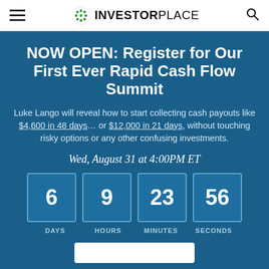InvestorPlace
NOW OPEN: Register for Our First Ever Rapid Cash Flow Summit
Luke Lango will reveal how to start collecting cash payouts like $4,600 in 48 days… or $12,000 in 21 days, without touching risky options or any other confusing investments.
Wed, August 31 at 4:00PM ET
[Figure (infographic): Countdown timer showing 6 DAYS, 9 HOURS, 23 MINUTES, 56 SECONDS in blue bordered boxes]